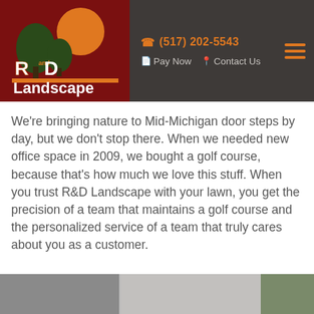R and D Landscape — (517) 202-5543 — Pay Now — Contact Us
We're bringing nature to Mid-Michigan door steps by day, but we don't stop there. When we needed new office space in 2009, we bought a golf course, because that's how much we love this stuff. When you trust R&D Landscape with your lawn, you get the precision of a team that maintains a golf course and the personalized service of a team that truly cares about you as a customer.
[Figure (photo): Bottom strip showing exterior building/house photo in greyscale]